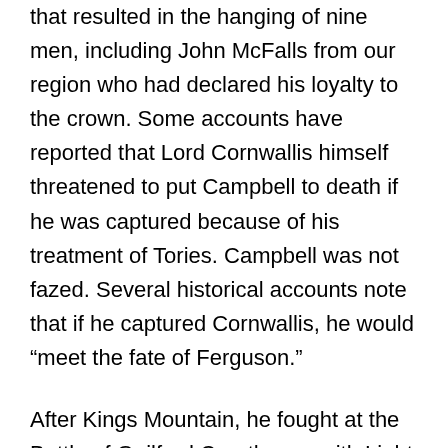that resulted in the hanging of nine men, including John McFalls from our region who had declared his loyalty to the crown. Some accounts have reported that Lord Cornwallis himself threatened to put Campbell to death if he was captured because of his treatment of Tories. Campbell was not fazed. Several historical accounts note that if he captured Cornwallis, he would “meet the fate of Ferguson.”
After Kings Mountain, he fought at the Battle of Guilford Courthouse with Light Horse Harry Lee, father of famous Confederate General Robert E. Lee. Soon after, he returned to the Virginia Assembly where they commissioned